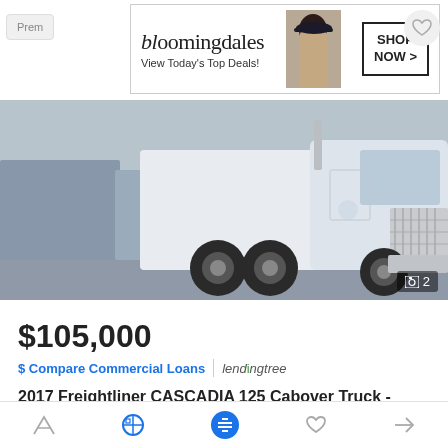[Figure (screenshot): Bloomingdale's advertisement banner with logo, tagline 'View Today's Top Deals!', model image, and 'SHOP NOW >' button]
[Figure (photo): White 2017 Freightliner Cascadia 125 Cabover Truck - Sleeper parked in a lot, front three-quarter view showing the large chrome grill, sleeper cab, and dual rear axles. Photo counter badge shows 2 images.]
$105,000
$ Compare Commercial Loans | lendingtree
2017 Freightliner CASCADIA 125 Cabover Truck - Sleeper
Private Seller
Herndon, VA - 8 mi. away
✉ Email